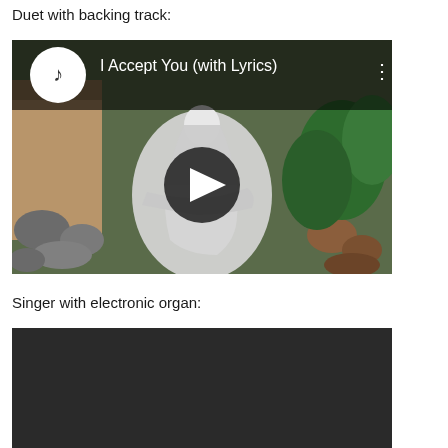Duet with backing track:
[Figure (screenshot): YouTube video thumbnail showing a marble Pieta statue (Mary holding Jesus) in an outdoor garden setting with rocks and tropical plants. The video title shows 'I Accept You (with Lyrics)' with a music channel icon and a play button overlay.]
Singer with electronic organ:
[Figure (screenshot): Dark/black video thumbnail, partially visible at bottom of page.]